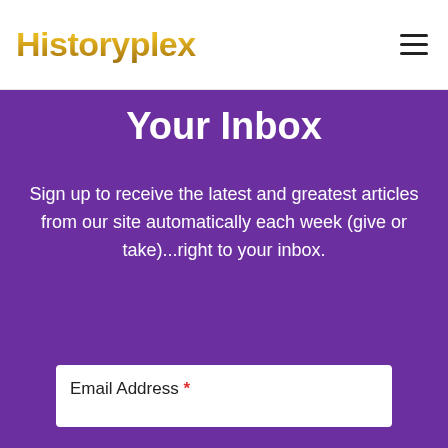Historyplex
Your Inbox
Sign up to receive the latest and greatest articles from our site automatically each week (give or take)...right to your inbox.
Email Address *
Get Updates →
[Figure (screenshot): Levi's advertisement banner: Levi's® Made Just For You - Levi's Outlet Store]
Levi's® Made Just For You
Levi's Outlet Store